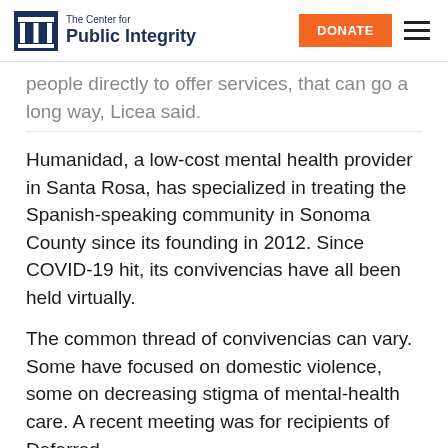The Center for Public Integrity | DONATE
people directly to offer services, that can go a long way, Licea said.
Humanidad, a low-cost mental health provider in Santa Rosa, has specialized in treating the Spanish-speaking community in Sonoma County since its founding in 2012. Since COVID-19 hit, its convivencias have all been held virtually.
The common thread of convivencias can vary. Some have focused on domestic violence, some on decreasing stigma of mental-health care. A recent meeting was for recipients of Deferred